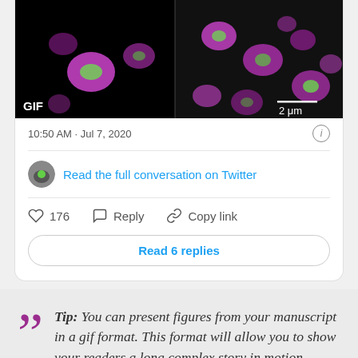[Figure (photo): Fluorescence microscopy image showing cells with magenta and green staining on dark background. Left panel labeled GIF. Right panel shows scale bar of 2 μm.]
10:50 AM · Jul 7, 2020
Read the full conversation on Twitter
176   Reply   Copy link
Read 6 replies
Tip: You can present figures from your manuscript in a gif format. This format will allow you to show your readers a long complex story in motion instead of boring them with long text.